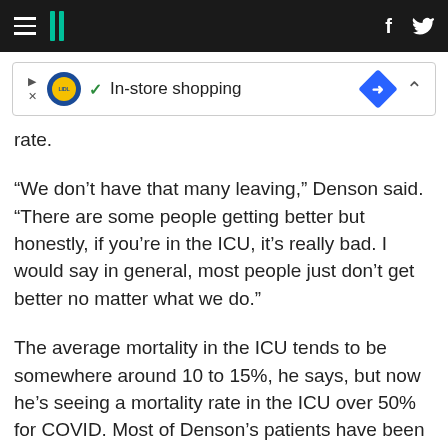HuffPost navigation bar with hamburger menu, logo, Facebook and Twitter icons
[Figure (screenshot): Advertisement banner: Lidl logo, checkmark, 'In-store shopping' text, blue diamond navigation icon, chevron up]
rate.
“We don’t have that many leaving,” Denson said. “There are some people getting better but honestly, if you’re in the ICU, it’s really bad. I would say in general, most people just don’t get better no matter what we do.”
The average mortality in the ICU tends to be somewhere around 10 to 15%, he says, but now he’s seeing a mortality rate in the ICU over 50% for COVID. Most of Denson’s patients have been